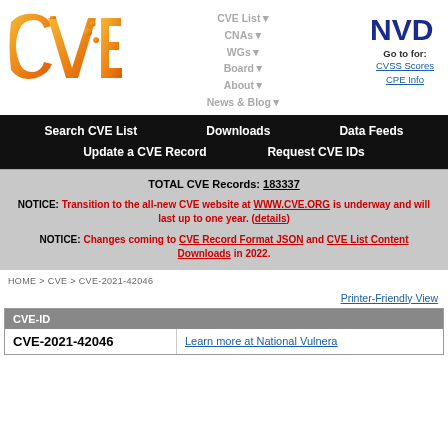[Figure (logo): CVE logo - orange gradient letters CVE with circuit-dot styling]
CVE List▼  CNAs▼  WGs▼  Board▼  About▼  News & Blog▼  NVD Go to: CVSS Scores  CPE Info
Search CVE List  Downloads  Data Feeds  Update a CVE Record  Request CVE IDs
TOTAL CVE Records: 183337

NOTICE: Transition to the all-new CVE website at WWW.CVE.ORG is underway and will last up to one year. (details)

NOTICE: Changes coming to CVE Record Format JSON and CVE List Content Downloads in 2022.
HOME > CVE > CVE-2021-42046
Printer-Friendly View
| CVE-ID |  |
| --- | --- |
| CVE-2021-42046 | Learn more at National Vulnera... |